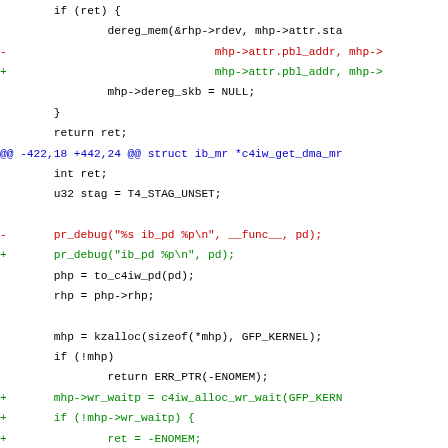[Figure (other): Source code diff showing changes to a C kernel driver file, with context lines in black, removed lines in red prefixed with minus, added lines in green prefixed with plus, and hunk headers in blue.]